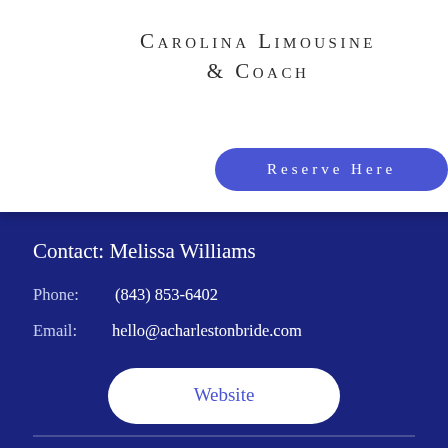Carolina Limousine & Coach
Reserve Here
Contact:  Melissa Williams
Phone:   (843) 853-6402
Email:   hello@acharlestonbride.com
Website
A Charleston Event
Address or Service Area:
1525 Ashley River Rd, Charleston, SC 29407
Contact:  Holly Simpson
Phone:   (843) 568-5769